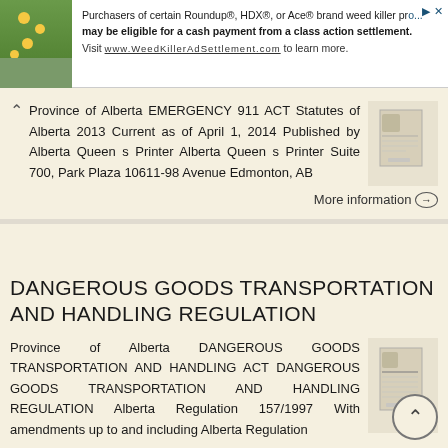[Figure (screenshot): Advertisement banner: Purchasers of certain Roundup®, HDX®, or Ace® brand weed killer products may be eligible for a cash payment from a class action settlement. Visit www.WeedKillerAdSettlement.com to learn more.]
Province of Alberta EMERGENCY 911 ACT Statutes of Alberta 2013 Current as of April 1, 2014 Published by Alberta Queen s Printer Alberta Queen s Printer Suite 700, Park Plaza 10611-98 Avenue Edmonton, AB
More information →
DANGEROUS GOODS TRANSPORTATION AND HANDLING REGULATION
Province of Alberta DANGEROUS GOODS TRANSPORTATION AND HANDLING ACT DANGEROUS GOODS TRANSPORTATION AND HANDLING REGULATION Alberta Regulation 157/1997 With amendments up to and including Alberta Regulation